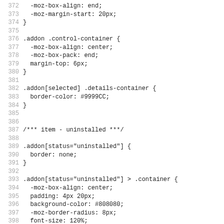Code listing lines 372-403, CSS source code
372   -moz-box-align: end;
373   -moz-margin-start: 20px;
374 }
375
376 .addon .control-container {
377   -moz-box-align: center;
378   -moz-box-pack: end;
379   margin-top: 6px;
380 }
381
382 .addon[selected] .details-container {
383   border-color: #9999CC;
384 }
385
386
387 /*** item - uninstalled ***/
388
389 .addon[status="uninstalled"] {
390   border: none;
391 }
392
393 .addon[status="uninstalled"] > .container {
394   -moz-box-align: center;
395   padding: 4px 20px;
396   background-color: #808080;
397   -moz-border-radius: 8px;
398   font-size: 120%;
399 }
400
401 .addon[status="uninstalled"][selected] {
402   background-color: transparent;
403 }